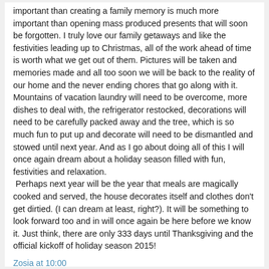important than opening mass produced presents that will soon be forgotten. I truly love our family getaways and like the festivities leading up to Christmas, all of the work ahead of time is worth what we get out of them. Pictures will be taken and memories made and all too soon we will be back to the reality of our home and the never ending chores that go along with it. Mountains of vacation laundry will need to be overcome, more dishes to deal with, the refrigerator restocked, decorations will need to be carefully packed away and the tree, which is so much fun to put up and decorate will need to be dismantled and stowed until next year. And as I go about doing all of this I will once again dream about a holiday season filled with fun, festivities and relaxation.
 Perhaps next year will be the year that meals are magically cooked and served, the house decorates itself and clothes don't get dirtied. (I can dream at least, right?). It will be something to look forward too and in will once again be here before we know it. Just think, there are only 333 days until Thanksgiving and the official kickoff of holiday season 2015!
Zosia at 10:00